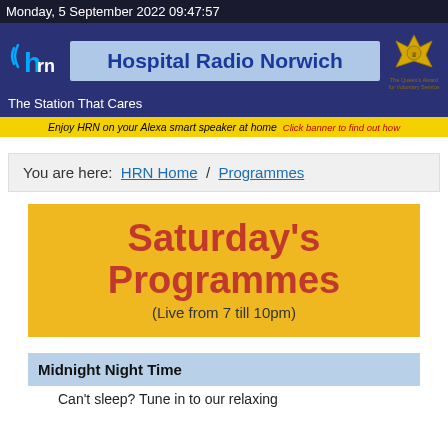Monday, 5 September 2022 09:47:57
[Figure (logo): Hospital Radio Norwich banner with HRN logo on the left, bold blue title 'Hospital Radio Norwich' in centre, and Queen's Award crown badge on the right. Dark navy background.]
The Station That Cares
Enjoy HRN on your Alexa smart speaker at home   Click banner to find out how
You are here:  HRN Home / Programmes
Saturday's Programmes (Live from 7 till 10pm)
Midnight Night Time
Can't sleep? Tune in to our relaxing